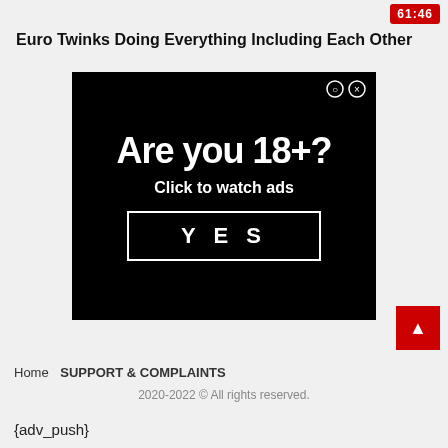61:46
Euro Twinks Doing Everything Including Each Other
[Figure (screenshot): Age verification advertisement popup on black background. Large white bold text reads 'Are you 18+?' with subtitle 'Click to watch ads' and a bordered button labeled 'YES'. Two small circular icons (close/settings) appear in top-right corner.]
Home   SUPPORT & COMPLAINTS
2020-2022 © All rights reserved.
{adv_push}